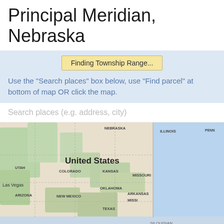Principal Meridian, Nebraska
Finding Township Range...
Use the "Search places" box below, use "Find parcel" at bottom of map OR click the map.
Search places (e.g. address, city)
[Figure (map): Map of the United States showing states including Nebraska, Illinois, Utah, Colorado, Kansas, Missouri, Las Vegas, Arizona, New Mexico, Oklahoma, Arkansas, Mississippi, Texas, with Houston visible at bottom. The eastern portion shows a blue ocean/water area. Map has dashed state boundary lines.]